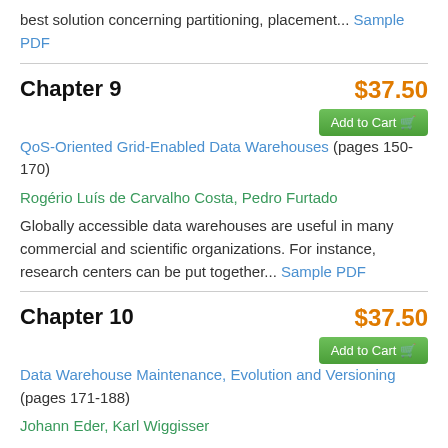best solution concerning partitioning, placement... Sample PDF
Chapter 9
$37.50
Add to Cart
QoS-Oriented Grid-Enabled Data Warehouses (pages 150-170)
Rogério Luís de Carvalho Costa, Pedro Furtado
Globally accessible data warehouses are useful in many commercial and scientific organizations. For instance, research centers can be put together... Sample PDF
Chapter 10
$37.50
Add to Cart
Data Warehouse Maintenance, Evolution and Versioning (pages 171-188)
Johann Eder, Karl Wiggisser
Data Warehouses typically are building blocks of decision support systems in companies and public administration. The data contained in a